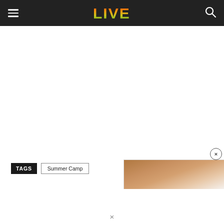LIVE
TAGS  Summer Camp
[Figure (photo): Partial face photo visible in popup overlay at bottom right]
×